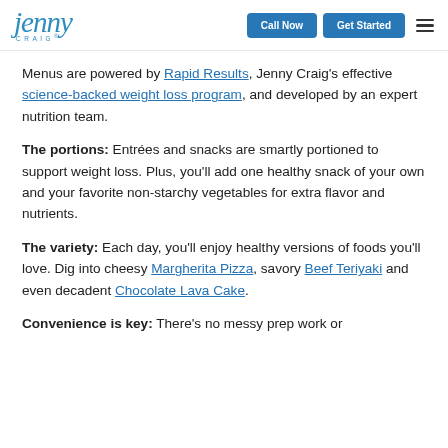Jenny Craig | Call Now | Get Started
Menus are powered by Rapid Results, Jenny Craig's effective science-backed weight loss program, and developed by an expert nutrition team.
The portions: Entrées and snacks are smartly portioned to support weight loss. Plus, you'll add one healthy snack of your own and your favorite non-starchy vegetables for extra flavor and nutrients.
The variety: Each day, you'll enjoy healthy versions of foods you'll love. Dig into cheesy Margherita Pizza, savory Beef Teriyaki and even decadent Chocolate Lava Cake.
Convenience is key: There's no messy prep work or...